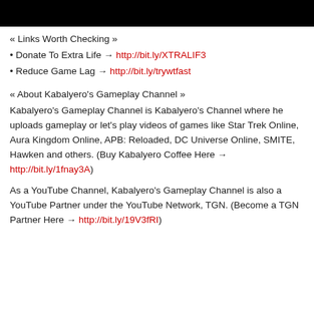[Figure (photo): Black banner/header bar at top of page]
« Links Worth Checking »
• Donate To Extra Life → http://bit.ly/XTRALIF3
• Reduce Game Lag → http://bit.ly/trywtfast
« About Kabalyero's Gameplay Channel »
Kabalyero's Gameplay Channel is Kabalyero's Channel where he uploads gameplay or let's play videos of games like Star Trek Online, Aura Kingdom Online, APB: Reloaded, DC Universe Online, SMITE, Hawken and others. (Buy Kabalyero Coffee Here → http://bit.ly/1fnay3A)
As a YouTube Channel, Kabalyero's Gameplay Channel is also a YouTube Partner under the YouTube Network, TGN. (Become a TGN Partner Here → http://bit.ly/19V3fRI)